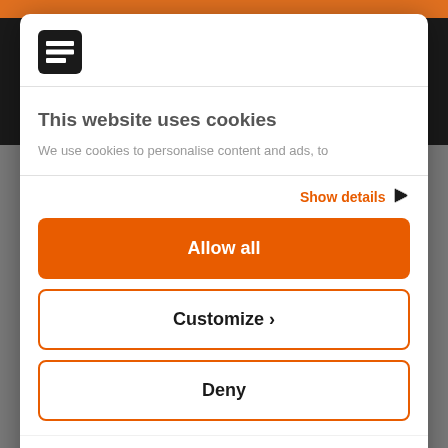[Figure (logo): Black square logo with white horizontal lines (Seat or similar brand logo)]
This website uses cookies
We use cookies to personalise content and ads, to
Show details ›
Allow all
Customize ›
Deny
Powered by Cookiebot by Usercentrics